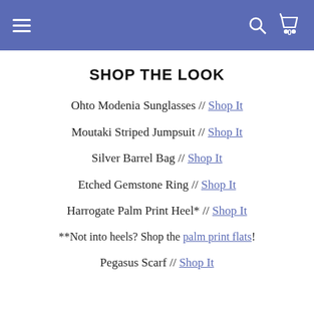Navigation bar with hamburger menu, search icon, and cart (0)
SHOP THE LOOK
Ohto Modenia Sunglasses // Shop It
Moutaki Striped Jumpsuit // Shop It
Silver Barrel Bag // Shop It
Etched Gemstone Ring // Shop It
Harrogate Palm Print Heel* // Shop It
**Not into heels? Shop the palm print flats!
Pegasus Scarf // Shop It